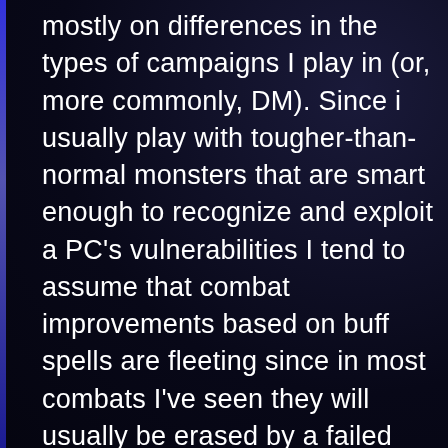mostly on differences in the types of campaigns I play in (or, more commonly, DM). Since i usually play with tougher-than-normal monsters that are smart enough to recognize and exploit a PC's vulnerabilities I tend to assume that combat improvements based on buff spells are fleeting since in most combats I've seen they will usually be erased by a failed con save in 1, max 2 rounds. From my perspective a level 15 fighter with decent feats is to your bardcher as an AK47 is to an M16. I also generally don't play to high levels- the highest level a campaign of mine ever got to was 14 and If I'm not mistaken a Martial Class optimized for range combat should match or exceed your bardcher until at least level 11...